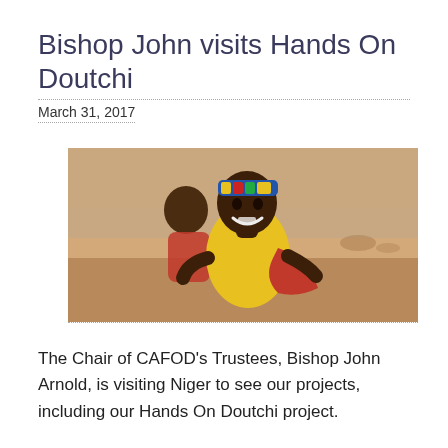Bishop John visits Hands On Doutchi
March 31, 2017
[Figure (photo): A young African girl wearing a yellow shirt and colorful headband, smiling at the camera, with a baby on her back wrapped in a red cloth. Background is a dusty, arid landscape.]
The Chair of CAFOD's Trustees, Bishop John Arnold, is visiting Niger to see our projects, including our Hands On Doutchi project.